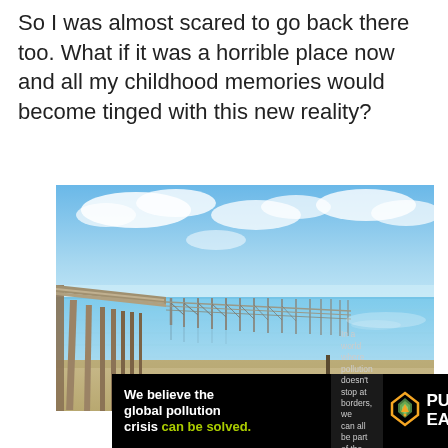So I was almost scared to go back there too. What if it was a horrible place now and all my childhood memories would become tinged with this new reality?
[Figure (photo): A weathered wooden pier extending into calm blue water, with a partially collapsed or submerged section visible, sandy beach in foreground, blue sky with clouds in background.]
We believe the global pollution crisis can be solved. In a world where pollution doesn't stop at borders, we can all be part of the solution. JOIN US. PURE EARTH